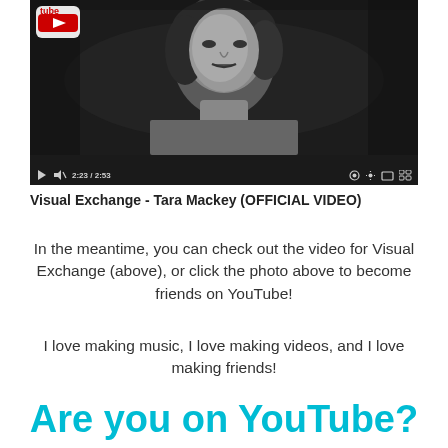[Figure (screenshot): YouTube video player screenshot showing a black and white video of a woman, with YouTube logo in top left, red progress bar at 2:23/2:53, and video controls at bottom.]
Visual Exchange - Tara Mackey (OFFICIAL VIDEO)
In the meantime, you can check out the video for Visual Exchange (above), or click the photo above to become friends on YouTube!
I love making music, I love making videos, and I love making friends!
Are you on YouTube?